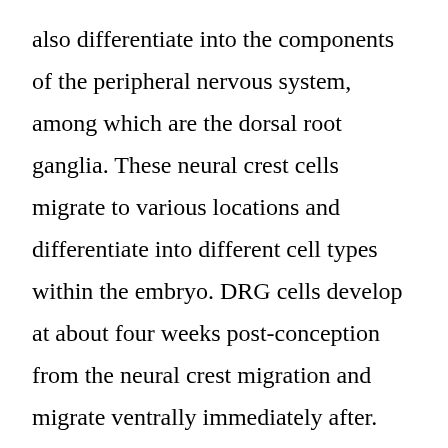also differentiate into the components of the peripheral nervous system, among which are the dorsal root ganglia. These neural crest cells migrate to various locations and differentiate into different cell types within the embryo. DRG cells develop at about four weeks post-conception from the neural crest migration and migrate ventrally immediately after. During the seventh to eighth weeks, early bipolar neurons begin to appear. At about 11 weeks, unipolar neurons with a single broad process and well-developed organelles begin to form. The onset of reflex responsiveness from the skin of the upper limb correlates with the appearance of (pseudo) unipolar neurons. Because dorsal root ganglion develops from the neural crost